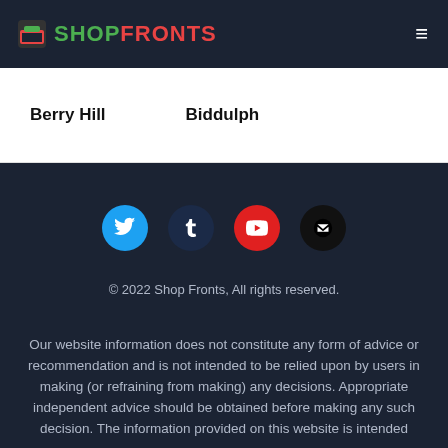SHOP FRONTS
Berry Hill
Biddulph
[Figure (infographic): Social media icon buttons: Twitter (blue), Tumblr (dark navy), YouTube (red), Email (black)]
© 2022 Shop Fronts, All rights reserved.
Our website information does not constitute any form of advice or recommendation and is not intended to be relied upon by users in making (or refraining from making) any decisions. Appropriate independent advice should be obtained before making any such decision. The information provided on this website is intended